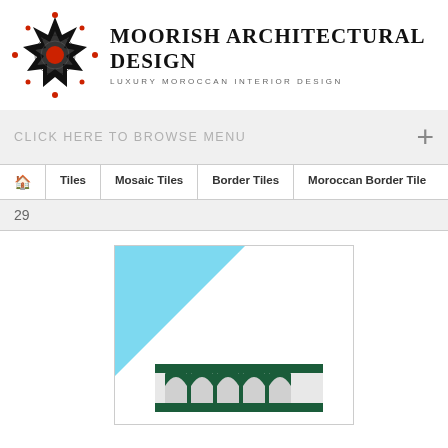[Figure (logo): Moorish geometric star pattern logo in black with red accent dots]
MOORISH ARCHITECTURAL DESIGN
LUXURY MOROCCAN INTERIOR DESIGN
CLICK HERE TO BROWSE MENU
Home | Tiles | Mosaic Tiles | Border Tiles | Moroccan Border Tile
29
[Figure (photo): Moroccan green border tile with arch pattern design, shown with a light blue NEW ribbon in the top-left corner]